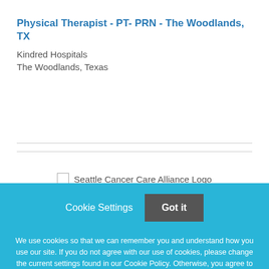Physical Therapist - PT- PRN - The Woodlands, TX
Kindred Hospitals
The Woodlands, Texas
[Figure (logo): Seattle Cancer Care Alliance Logo placeholder image]
Cookie Settings   Got it
We use cookies so that we can remember you and understand how you use our site. If you do not agree with our use of cookies, please change the current settings found in our Cookie Policy. Otherwise, you agree to the use of the cookies as they are currently set.